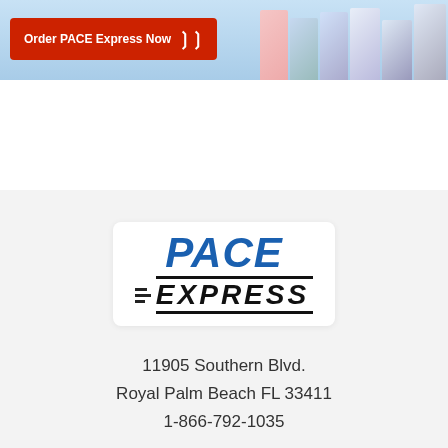[Figure (illustration): Banner ad for PACE Express with a red 'Order PACE Express Now' button with chevrons on the left, and fitness/book product images on the right against a light blue background.]
[Figure (logo): PACE EXPRESS logo: 'PACE' in large bold italic blue text above '=EXPRESS' in bold italic black text with speed lines on the left side, on a white rounded rectangle.]
11905 Southern Blvd.
Royal Palm Beach FL 33411
1-866-792-1035